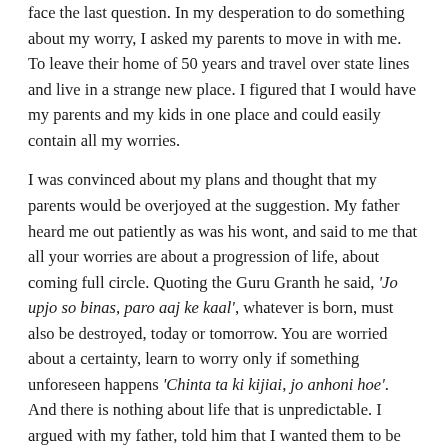face the last question. In my desperation to do something about my worry, I asked my parents to move in with me. To leave their home of 50 years and travel over state lines and live in a strange new place. I figured that I would have my parents and my kids in one place and could easily contain all my worries.
I was convinced about my plans and thought that my parents would be overjoyed at the suggestion. My father heard me out patiently as was his wont, and said to me that all your worries are about a progression of life, about coming full circle. Quoting the Guru Granth he said, 'Jo upjo so binas, paro aaj ke kaal', whatever is born, must also be destroyed, today or tomorrow. You are worried about a certainty, learn to worry only if something unforeseen happens 'Chinta ta ki kijiai, jo anhoni hoe'. And there is nothing about life that is unpredictable. I argued with my father, told him that I wanted them to be with me forever. My father related a small story to me. It was about a blind man, who went to Guru Nanak and asked that his eye sight be restored. Guru Nanak smiled and said to him that of all the things you could ask for, you ask for something that you will lose again one day!